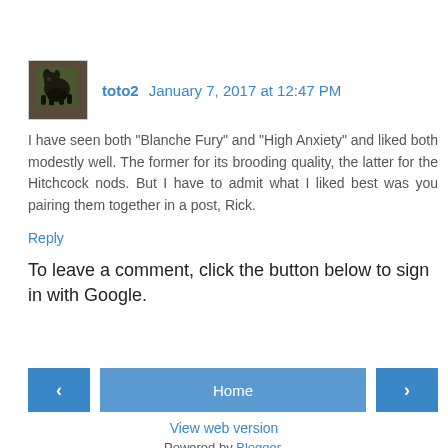toto2  January 7, 2017 at 12:47 PM
I have seen both "Blanche Fury" and "High Anxiety" and liked both modestly well. The former for its brooding quality, the latter for the Hitchcock nods. But I have to admit what I liked best was you pairing them together in a post, Rick.
Reply
To leave a comment, click the button below to sign in with Google.
SIGN IN WITH GOOGLE
Home
View web version
Powered by Blogger.